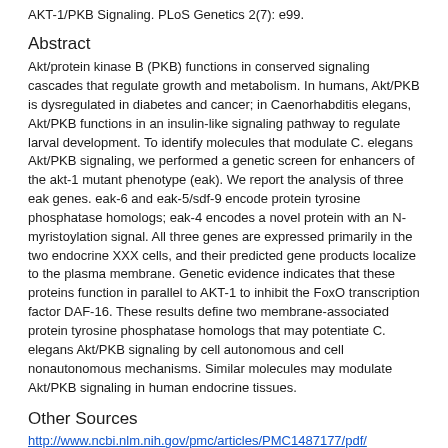AKT-1/PKB Signaling. PLoS Genetics 2(7): e99.
Abstract
Akt/protein kinase B (PKB) functions in conserved signaling cascades that regulate growth and metabolism. In humans, Akt/PKB is dysregulated in diabetes and cancer; in Caenorhabditis elegans, Akt/PKB functions in an insulin-like signaling pathway to regulate larval development. To identify molecules that modulate C. elegans Akt/PKB signaling, we performed a genetic screen for enhancers of the akt-1 mutant phenotype (eak). We report the analysis of three eak genes. eak-6 and eak-5/sdf-9 encode protein tyrosine phosphatase homologs; eak-4 encodes a novel protein with an N-myristoylation signal. All three genes are expressed primarily in the two endocrine XXX cells, and their predicted gene products localize to the plasma membrane. Genetic evidence indicates that these proteins function in parallel to AKT-1 to inhibit the FoxO transcription factor DAF-16. These results define two membrane-associated protein tyrosine phosphatase homologs that may potentiate C. elegans Akt/PKB signaling by cell autonomous and cell nonautonomous mechanisms. Similar molecules may modulate Akt/PKB signaling in human endocrine tissues.
Other Sources
http://www.ncbi.nlm.nih.gov/pmc/articles/PMC1487177/pdf/